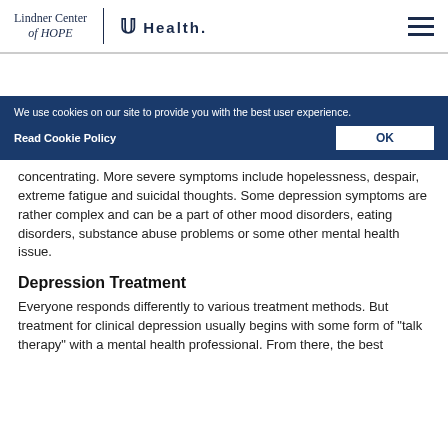Lindner Center of HOPE | UC Health
On the mild side, symptoms can range from irritability, a lack of interest in activities once enjoyed, concentrating. More severe symptoms include hopelessness, despair, extreme fatigue and suicidal thoughts. Some depression symptoms are rather complex and can be a part of other mood disorders, eating disorders, substance abuse problems or some other mental health issue.
Depression Treatment
Everyone responds differently to various treatment methods. But treatment for clinical depression usually begins with some form of "talk therapy" with a mental health professional. From there, the best